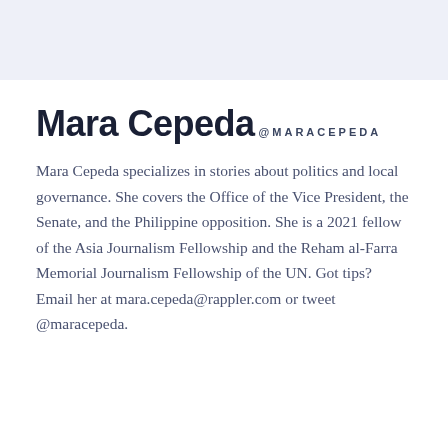Mara Cepeda
@MARACEPEDA
Mara Cepeda specializes in stories about politics and local governance. She covers the Office of the Vice President, the Senate, and the Philippine opposition. She is a 2021 fellow of the Asia Journalism Fellowship and the Reham al-Farra Memorial Journalism Fellowship of the UN. Got tips? Email her at mara.cepeda@rappler.com or tweet @maracepeda.